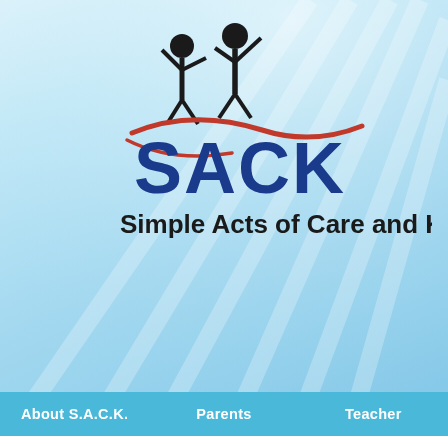[Figure (logo): SACK - Simple Acts of Care and Kindness logo with two child silhouettes and a red swoosh]
About S.A.C.K.   Parents   Teacher
TAG ARCHIVES: SAFE SUMMER
Accidents Happen: Pool Safety Edition
Posted on July 30, 2017
[Figure (photo): Child swimming in pool, close-up of head and back in water]